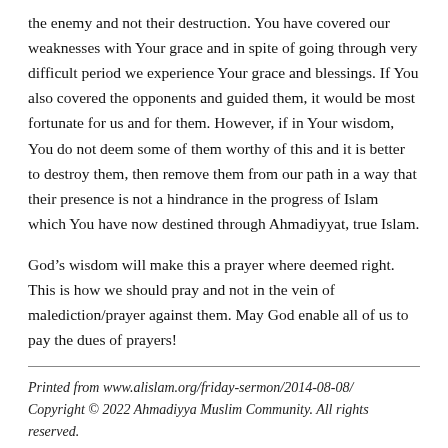the enemy and not their destruction. You have covered our weaknesses with Your grace and in spite of going through very difficult period we experience Your grace and blessings. If You also covered the opponents and guided them, it would be most fortunate for us and for them. However, if in Your wisdom, You do not deem some of them worthy of this and it is better to destroy them, then remove them from our path in a way that their presence is not a hindrance in the progress of Islam which You have now destined through Ahmadiyyat, true Islam.
God’s wisdom will make this a prayer where deemed right. This is how we should pray and not in the vein of malediction/prayer against them. May God enable all of us to pay the dues of prayers!
Printed from www.alislam.org/friday-sermon/2014-08-08/ Copyright © 2022 Ahmadiyya Muslim Community. All rights reserved.